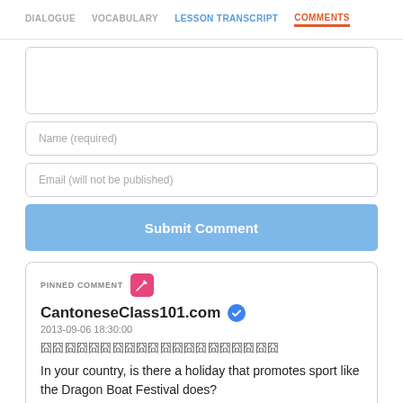DIALOGUE | VOCABULARY | LESSON TRANSCRIPT | COMMENTS
[Figure (screenshot): Comment text area input box (empty)]
Name (required)
Email (will not be published)
Submit Comment
PINNED COMMENT
CantoneseClass101.com
2013-09-06 18:30:00
囧囧囧囧囧囧囧囧囧囧囧囧囧囧囧囧囧囧囧囧
In your country, is there a holiday that promotes sport like the Dragon Boat Festival does?